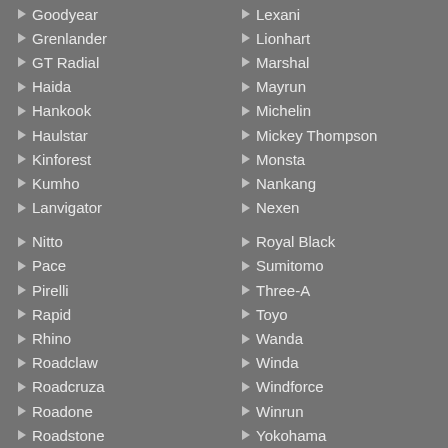Goodyear
Grenlander
GT Radial
Haida
Hankook
Haulstar
Kinforest
Kumho
Lanvigator
Nitto
Pace
Pirelli
Rapid
Rhino
Roadclaw
Roadcruza
Roadone
Roadstone
Lexani
Lionhart
Marshal
Mayrun
Michelin
Mickey Thompson
Monsta
Nankang
Nexen
Royal Black
Sumitomo
Three-A
Toyo
Wanda
Winda
Windforce
Winrun
Yokohama